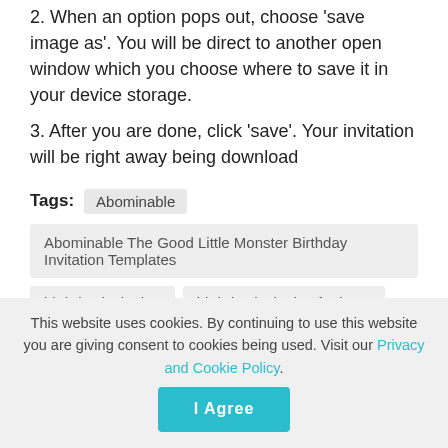2. When an option pops out, choose 'save image as'. You will be direct to another open window which you choose where to save it in your device storage.
3. After you are done, click 'save'. Your invitation will be right away being download
Tags: Abominable
Abominable The Good Little Monster Birthday Invitation Templates
birthday invitation   birthday invitation for boys
Birthday Invitation for girl   birthday invitation for kids
birthday invitation idea   Birthday Invitation Ideas
Birthday Invitation Template
This website uses cookies. By continuing to use this website you are giving consent to cookies being used. Visit our Privacy and Cookie Policy.